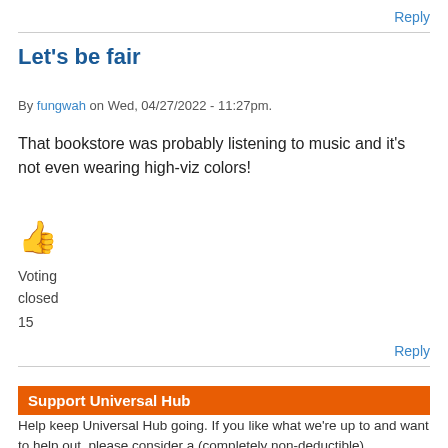Reply
Let's be fair
By fungwah on Wed, 04/27/2022 - 11:27pm.
That bookstore was probably listening to music and it's not even wearing high-viz colors!
[Figure (illustration): Thumbs up emoji in orange/yellow color]
Voting
closed
15
Reply
Support Universal Hub
Help keep Universal Hub going. If you like what we're up to and want to help out, please consider a (completely non-deductible) contribution.